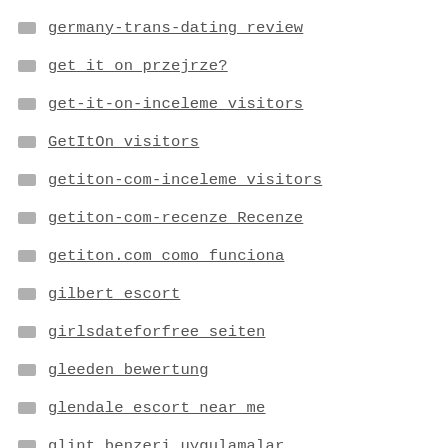germany-trans-dating review
get it on przejrze?
get-it-on-inceleme visitors
GetItOn visitors
getiton-com-inceleme visitors
getiton-com-recenze Recenze
getiton.com como funciona
gilbert escort
girlsdateforfree seiten
gleeden bewertung
glendale escort near me
glint benzeri uygulamalar